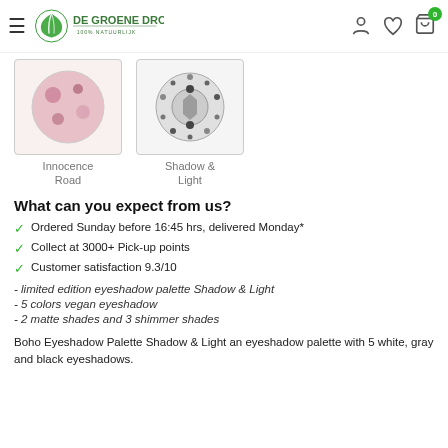DE GROENE DROGIST 100% NATUURLIJK
[Figure (photo): Two product thumbnail images: left showing 'Innocence Road' eyeshadow palette (pink tones), right showing 'Shadow & Light' eyeshadow palette (gray/black tones)]
Innocence Road
Shadow & Light
What can you expect from us?
Ordered Sunday before 16:45 hrs, delivered Monday*
Collect at 3000+ Pick-up points
Customer satisfaction 9.3/10
- limited edition eyeshadow palette Shadow & Light
- 5 colors vegan eyeshadow
- 2 matte shades and 3 shimmer shades
Boho Eyeshadow Palette Shadow & Light an eyeshadow palette with 5 white, gray and black eyeshadows.